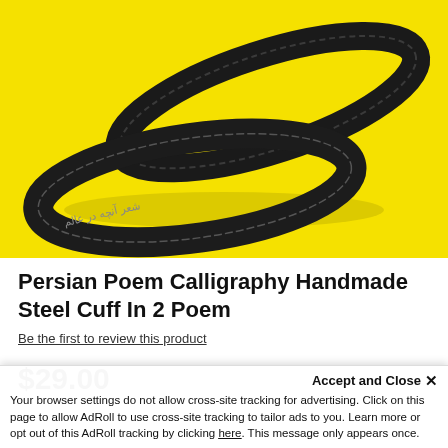[Figure (photo): Two black steel cuff bracelets with Persian calligraphy engraving, photographed on a bright yellow background]
Persian Poem Calligraphy Handmade Steel Cuff In 2 Poem
Be the first to review this product
$29.00
Accept and Close ✕
Your browser settings do not allow cross-site tracking for advertising. Click on this page to allow AdRoll to use cross-site tracking to tailor ads to you. Learn more or opt out of this AdRoll tracking by clicking here. This message only appears once.